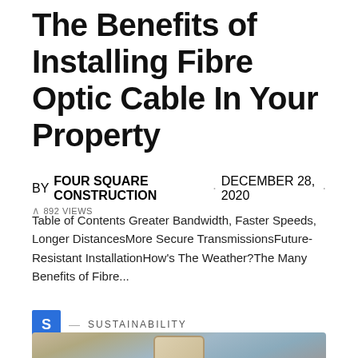The Benefits of Installing Fibre Optic Cable In Your Property
BY FOUR SQUARE CONSTRUCTION · DECEMBER 28, 2020 · 892 VIEWS
Table of Contents Greater Bandwidth, Faster Speeds, Longer DistancesMore Secure TransmissionsFuture-Resistant InstallationHow's The Weather?The Many Benefits of Fibre...
S — SUSTAINABILITY
[Figure (photo): Close-up photo of a device (appears to be a router or network hardware) on a wooden surface with cables in the background]